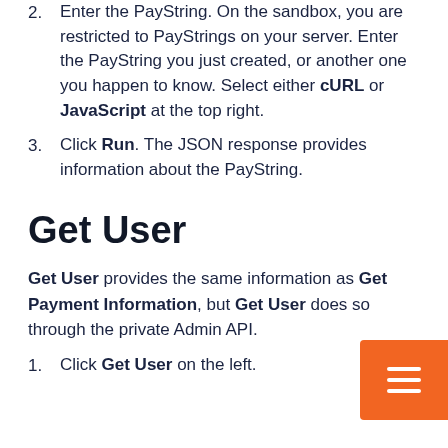2. Enter the PayString. On the sandbox, you are restricted to PayStrings on your server. Enter the PayString you just created, or another one you happen to know. Select either cURL or JavaScript at the top right.
3. Click Run. The JSON response provides information about the PayString.
Get User
Get User provides the same information as Get Payment Information, but Get User does so through the private Admin API.
1. Click Get User on the left.